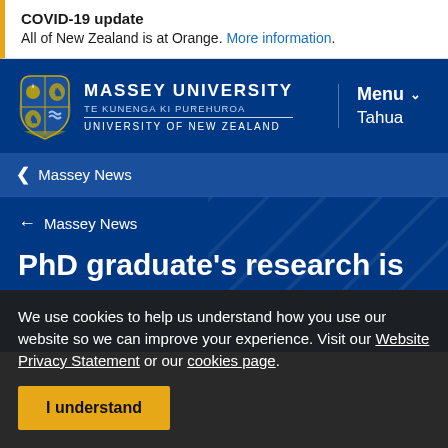COVID-19 update
All of New Zealand is at Orange. More information.
[Figure (logo): Massey University crest and logo with text: MASSEY UNIVERSITY, TE KUNENGA KI PUREHUROA, UNIVERSITY OF NEW ZEALAND]
Menu Tahua
< Massey News
← Massey News
PhD graduate's research is
We use cookies to help us understand how you use our website so we can improve your experience. Visit our Website Privacy Statement or our cookies page.
I understand